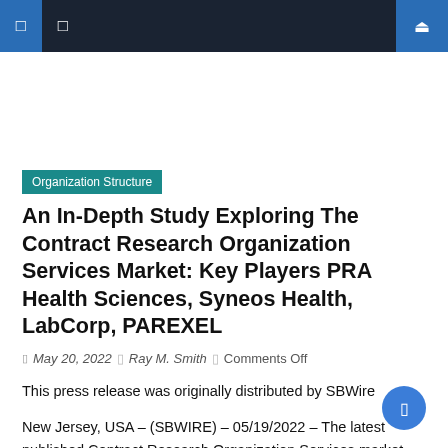Navigation bar with icons
Organization Structure
An In-Depth Study Exploring The Contract Research Organization Services Market: Key Players PRA Health Sciences, Syneos Health, LabCorp, PAREXEL
May 20, 2022 | Ray M. Smith | Comments Off
This press release was originally distributed by SBWire
New Jersey, USA – (SBWIRE) – 05/19/2022 – The latest published Contract Research Organization Services market